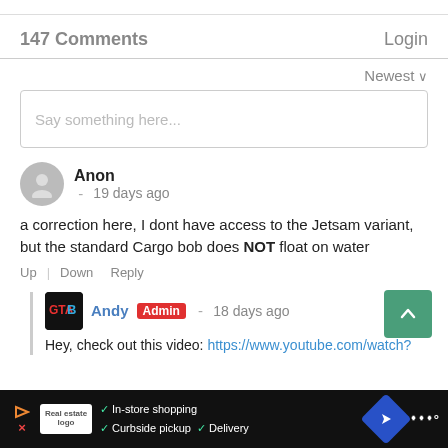147 Comments
Login
Newest
Say something here...
Anon - 19 days ago
a correction here, I dont have access to the Jetsam variant, but the standard Cargo bob does NOT float on water
Up | Down Reply
Andy Admin - 18 days ago
Hey, check out this video: https://www.youtube.com/watch?
In-store shopping  Curbside pickup  Delivery